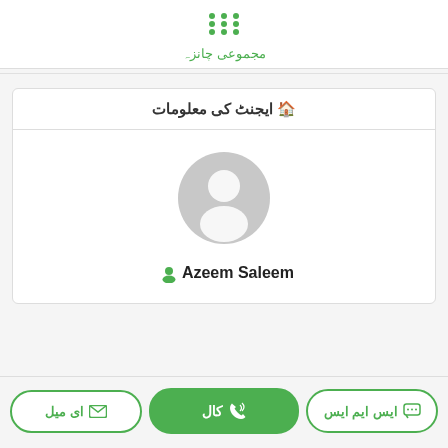مجموعی چانزہ
🏠 ایجنٹ کی معلومات
[Figure (illustration): Default user avatar — grey circle with white silhouette of a person]
👤 Azeem Saleem
ایس ایم ایس | کال | ای میل